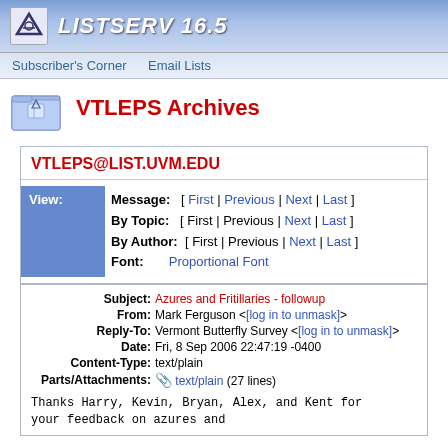LISTSERV 16.5
Subscriber's Corner  Email Lists
VTLEPS Archives
VTLEPS@LIST.UVM.EDU
| View: | Message: [ First | Previous | Next | Last ] | By Topic: [ First | Previous | Next | Last ] | By Author: [ First | Previous | Next | Last ] | Font: Proportional Font |
| Subject: | From: | Reply-To: | Date: | Content-Type: | Parts/Attachments: |
| --- | --- | --- | --- | --- | --- |
| Azures and Fritillaries - followup | Mark Ferguson <[log in to unmask]> | Vermont Butterfly Survey <[log in to unmask]> | Fri, 8 Sep 2006 22:47:19 -0400 | text/plain | text/plain (27 lines) |
Thanks Harry, Kevin, Bryan, Alex, and Kent for your feedback on azures and